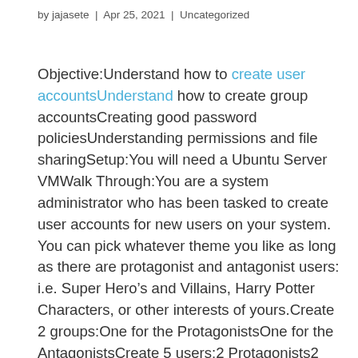by jajasete | Apr 25, 2021 | Uncategorized
Objective:Understand how to create user accountsUnderstand how to create group accountsCreating good password policiesUnderstanding permissions and file sharingSetup:You will need a Ubuntu Server VMWalk Through:You are a system administrator who has been tasked to create user accounts for new users on your system. You can pick whatever theme you like as long as there are protagonist and antagonist users: i.e. Super Hero’s and Villains, Harry Potter Characters, or other interests of yours.Create 2 groups:One for the ProtagonistsOne for the AntagonistsCreate 5 users:2 Protagonists2 Antagonists1 Neutral – Can access both group’s filesUser Configuration:Each user will have their own home directory that only they can access.Users must change their password when they first log